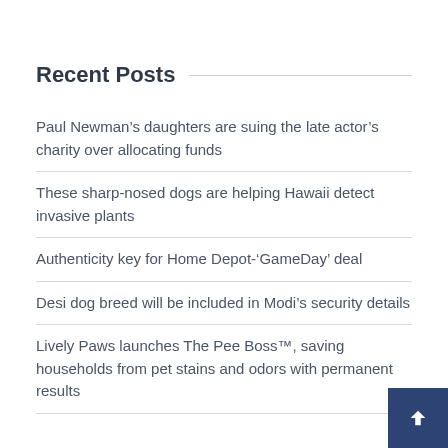Recent Posts
Paul Newman’s daughters are suing the late actor’s charity over allocating funds
These sharp-nosed dogs are helping Hawaii detect invasive plants
Authenticity key for Home Depot-‘GameDay’ deal
Desi dog breed will be included in Modi’s security details
Lively Paws launches The Pee Boss™, saving households from pet stains and odors with permanent results
Archives